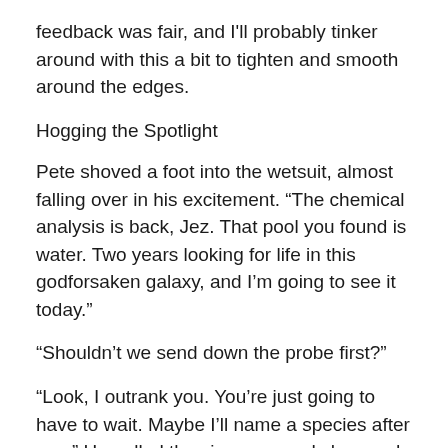feedback was fair, and I'll probably tinker around with this a bit to tighten and smooth around the edges.
Hogging the Spotlight
Pete shoved a foot into the wetsuit, almost falling over in his excitement. “The chemical analysis is back, Jez. That pool you found is water. Two years looking for life in this godforsaken galaxy, and I’m going to see it today.”
“Shouldn’t we send down the probe first?”
“Look, I outrank you. You’re just going to have to wait. Maybe I’ll name a species after you.” He pulled the zipper up and shrugged on his SCUBA gear. They could breathe under the portable biodome they’d set up over the site, but underwater was a different story.